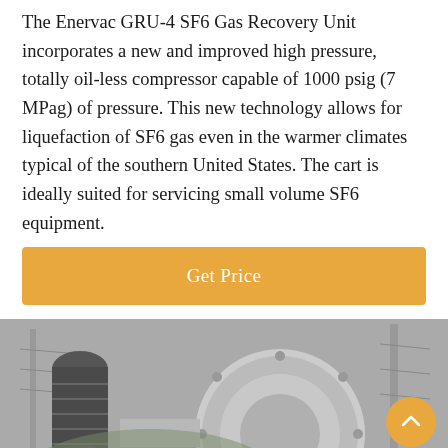The Enervac GRU-4 SF6 Gas Recovery Unit incorporates a new and improved high pressure, totally oil-less compressor capable of 1000 psig (7 MPag) of pressure. This new technology allows for liquefaction of SF6 gas even in the warmer climates typical of the southern United States. The cart is ideally suited for servicing small volume SF6 equipment.
[Figure (other): Orange 'Get Price' button]
[Figure (photo): Black and white photo of industrial SF6 gas equipment / electrical substation hardware with large circular flange component visible. Chat bar overlay at bottom with 'Leave Message' and 'Chat Online' options, and a female customer service avatar in center.]